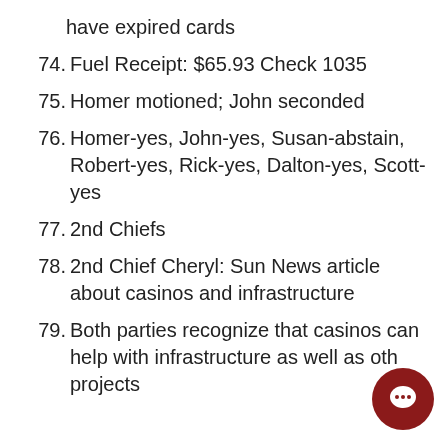have expired cards
74. Fuel Receipt: $65.93 Check 1035
75. Homer motioned; John seconded
76. Homer-yes, John-yes, Susan-abstain, Robert-yes, Rick-yes, Dalton-yes, Scott-yes
77. 2nd Chiefs
78. 2nd Chief Cheryl: Sun News article about casinos and infrastructure
79. Both parties recognize that casinos can help with infrastructure as well as other projects